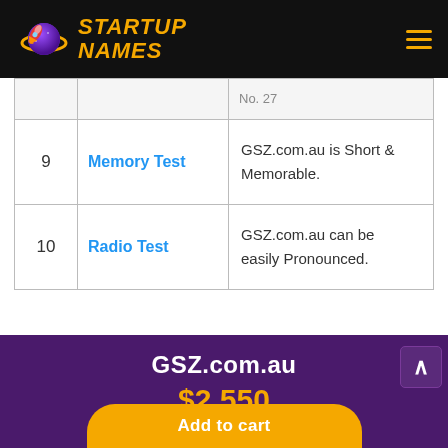STARTUP NAMES
| # | Test | Description |
| --- | --- | --- |
| 9 | Memory Test | GSZ.com.au is Short & Memorable. |
| 10 | Radio Test | GSZ.com.au can be easily Pronounced. |
GSZ.com.au
$2,550
Add to cart